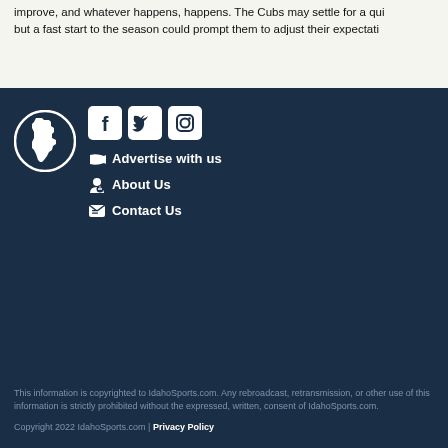improve, and whatever happens, happens. The Cubs may settle for a quiet offseason, but a fast start to the season could prompt them to adjust their expectations.
[Figure (logo): IdahoSports.com circular logo with Idaho state silhouette in white on dark navy background]
[Figure (illustration): Social media icons: Facebook, Twitter, Instagram — white icons on dark navy rounded square backgrounds]
Advertise with us
About Us
Contact Us
This information is copyrighted to IdahoSports.com. Any rebroadcast, retransmission, or other use of this information is strictly prohibited without the expressed, written, consent of IdahoSports.com.
Copyright 2022 IdahoSports.com | Privacy Policy